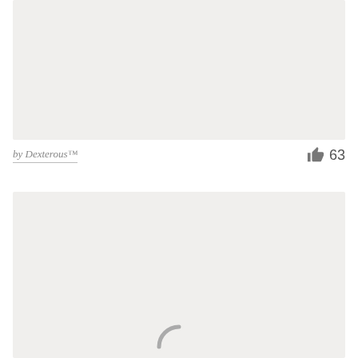[Figure (other): Gray placeholder image block at top of page]
by Dexterous™
63
[Figure (other): Gray placeholder image block at bottom of page with partial loading spinner visible]